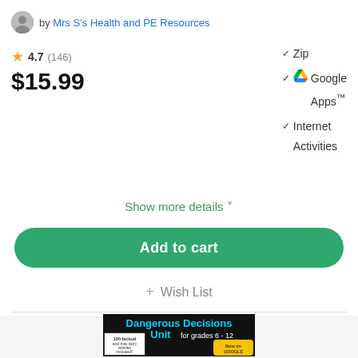by Mrs S's Health and PE Resources
4.7 (146)
$15.99
Zip
Google Apps™
Internet Activities
Show more details
Add to cart
+ Wish List
[Figure (photo): Dangerous Decisions Unit for grades 6-12 product cover image showing 100 factual and true story articles included, Now on Google [Apps]]